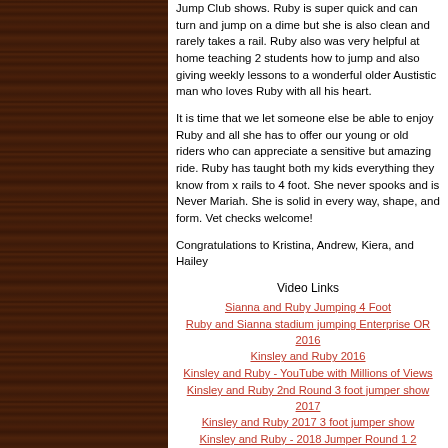Jump Club shows. Ruby is super quick and can turn and jump on a dime but she is also clean and rarely takes a rail. Ruby also was very helpful at home teaching 2 students how to jump and also giving weekly lessons to a wonderful older Austistic man who loves Ruby with all his heart.
It is time that we let someone else be able to enjoy Ruby and all she has to offer our young or old riders who can appreciate a sensitive but amazing ride. Ruby has taught both my kids everything they know from x rails to 4 foot. She never spooks and is Never Mariah. She is solid in every way, shape, and form. Vet checks welcome!
Congratulations to Kristina, Andrew, Kiera, and Hailey
Video Links
Sianna and Ruby Jumping 4 Foot
Ruby and Sianna stadium jumping Enterprise OR 2016
Kinsley and Ruby 2016
Kinsley and Ruby - YouTube with Millions of Views
Kinsley and Ruby 2nd Round 3 foot jumper show 2017
Kinsley and Ruby 2017 3 foot jumper show
Kinsley and Ruby - 2018 Jumper Round 1 2